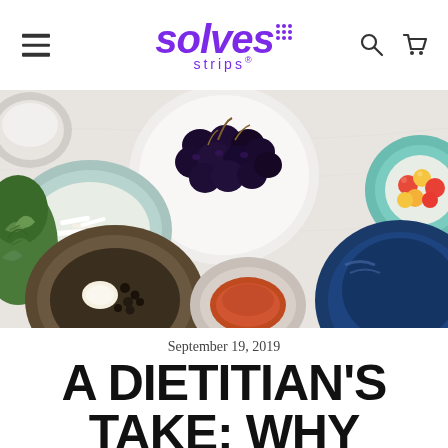solves strips®
[Figure (photo): Overhead flat-lay photo of various food ingredients in bowls and plates: dark grapes on a white plate, coconut flakes in a teal bowl, fresh herbs, mixed cherry tomatoes in a teal bowl, spices including red chili powder in a small bowl, garlic and peppercorns in a dark rustic bowl, and a large blue ceramic bowl, all arranged on a white marble surface.]
September 19, 2019
A DIETITIAN'S TAKE: WHY